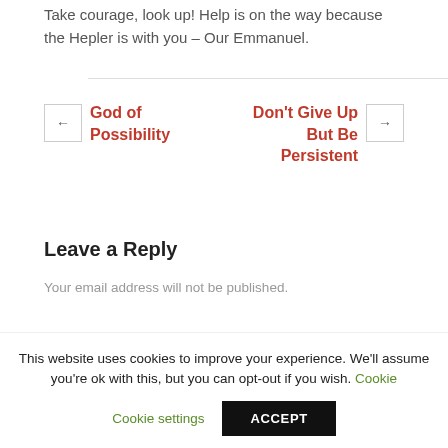Take courage, look up! Help is on the way because the Hepler is with you – Our Emmanuel.
← God of Possibility   Don't Give Up But Be Persistent →
Leave a Reply
Your email address will not be published.
This website uses cookies to improve your experience. We'll assume you're ok with this, but you can opt-out if you wish. Cookie settings  ACCEPT